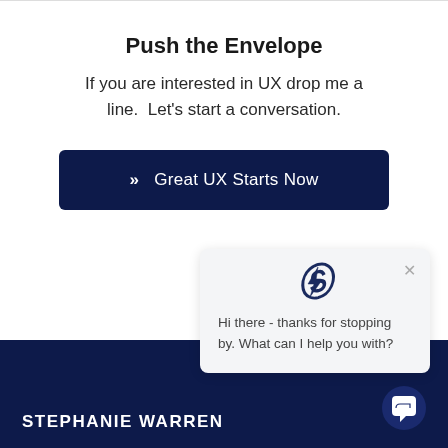Push the Envelope
If you are interested in UX drop me a line.  Let's start a conversation.
>> Great UX Starts Now
[Figure (screenshot): Chat popup with a stylized S logo, close X button, and message: Hi there - thanks for stopping by. What can I help you with?]
STEPHANIE WARREN